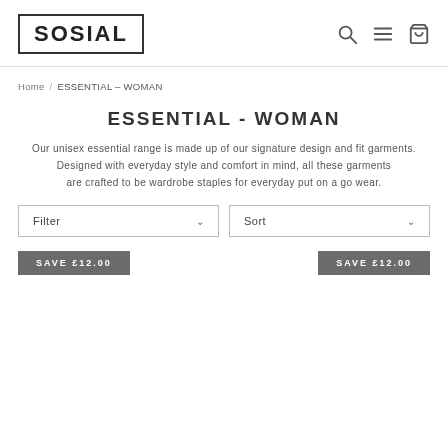SOSIAL
Home / ESSENTIAL - WOMAN
ESSENTIAL - WOMAN
Our unisex essential range is made up of our signature design and fit garments.
Designed with everyday style and comfort in mind, all these garments are crafted to be wardrobe staples for everyday put on a go wear.
Filter
Sort
SAVE £12.00
SAVE £12.00